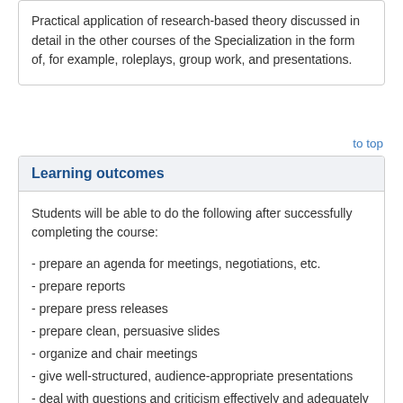Practical application of research-based theory discussed in detail in the other courses of the Specialization in the form of, for example, roleplays, group work, and presentations.
to top
Learning outcomes
Students will be able to do the following after successfully completing the course:
- prepare an agenda for meetings, negotiations, etc.
- prepare reports
- prepare press releases
- prepare clean, persuasive slides
- organize and chair meetings
- give well-structured, audience-appropriate presentations
- deal with questions and criticism effectively and adequately